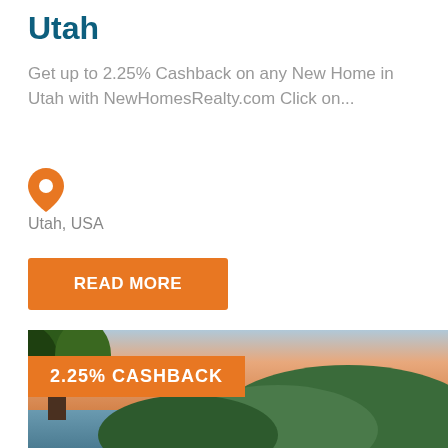Utah
Get up to 2.25% Cashback on any New Home in Utah with NewHomesRealty.com Click on...
[Figure (illustration): Orange map pin / location marker icon]
Utah, USA
READ MORE
[Figure (photo): Scenic landscape photo showing a tree in the foreground with green hills and a lake at sunset, with an orange badge overlay reading '2.25% CASHBACK']